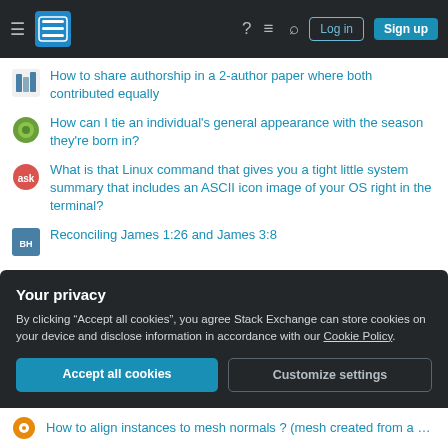Stack Exchange navigation bar with Log in and Sign up buttons
How to share authorship in a 2-author paper where both contributed equally
How can I tie an individual's general appearance with the season they're born in?
What is that Linux command that gives you a tight little system summary that includes an ASCII icon image of your OS right in the terminal?
Reconciling James 1:26 and James 3:8
What is "ice orange" and what does it have to do with horses?
Solenoid switching without relays
Why does mathematica repeat my differential equation again?Does it
Your privacy
By clicking “Accept all cookies”, you agree Stack Exchange can store cookies on your device and disclose information in accordance with our Cookie Policy.
How to align instances to mesh normals ? (mesh created from a curve